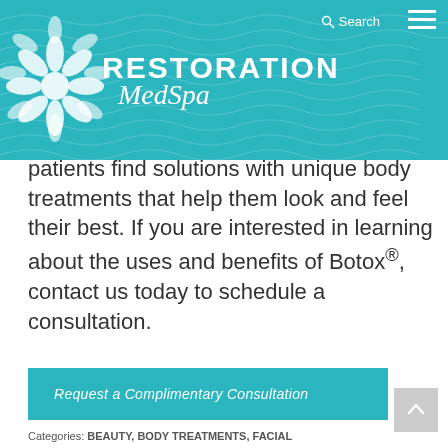[Figure (logo): Restoration MedSpa logo with teal background, white flower illustration, RESTORATION text in bold caps and MedSpa in italic script, search icon and hamburger menu]
patients find solutions with unique body treatments that help them look and feel their best. If you are interested in learning about the uses and benefits of Botox®, contact us today to schedule a consultation.
Request a Complimentary Consultation
Categories: BEAUTY, BODY TREATMENTS, FACIAL